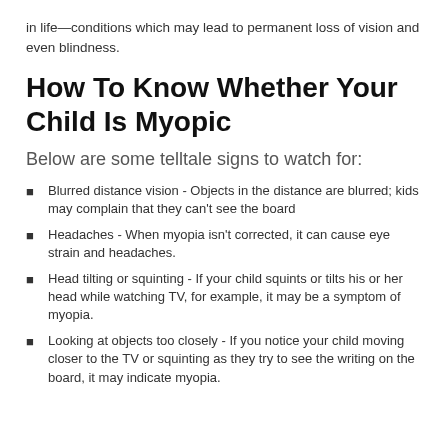in life—conditions which may lead to permanent loss of vision and even blindness.
How To Know Whether Your Child Is Myopic
Below are some telltale signs to watch for:
Blurred distance vision - Objects in the distance are blurred; kids may complain that they can't see the board
Headaches - When myopia isn't corrected, it can cause eye strain and headaches.
Head tilting or squinting - If your child squints or tilts his or her head while watching TV, for example, it may be a symptom of myopia.
Looking at objects too closely - If you notice your child moving closer to the TV or squinting as they try to see the writing on the board, it may indicate myopia.